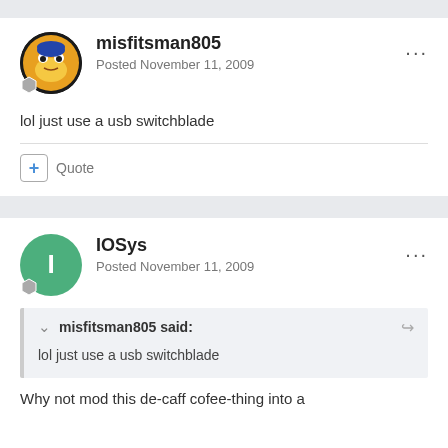misfitsman805
Posted November 11, 2009
lol just use a usb switchblade
Quote
IOSys
Posted November 11, 2009
misfitsman805 said:
lol just use a usb switchblade
Why not mod this de-caff cofee-thing into a